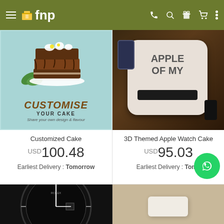fnp
[Figure (photo): Customise Your Cake promotional image with chocolate layer cake illustration on mint/teal background. Text reads: CUSTOMISE YOUR CAKE - Share your own design & flavour]
[Figure (photo): 3D Themed Apple Watch Cake - white fondant Apple-shaped cake with Apple Watch, iPhone, and car key decorations on dark wooden board]
Customized Cake
USD 100.48
Earliest Delivery : Tomorrow
3D Themed Apple Watch Cake
USD 95.03
Earliest Delivery : Tomorrow
[Figure (photo): Close-up of a black watch dial - appears to be a Rolex-style dive watch dial]
[Figure (photo): White/cream rectangular object on beige/tan background, possibly a cake or confection]